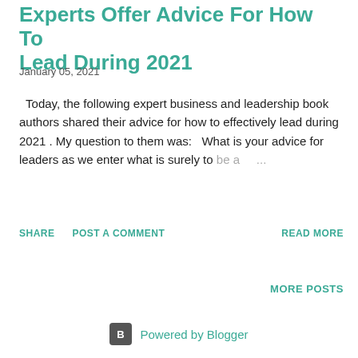Experts Offer Advice For How To Lead During 2021
January 05, 2021
Today, the following expert business and leadership book authors shared their advice for how to effectively lead during 2021 . My question to them was:   What is your advice for leaders as we enter what is surely to be a ...
SHARE   POST A COMMENT   READ MORE
MORE POSTS
Powered by Blogger